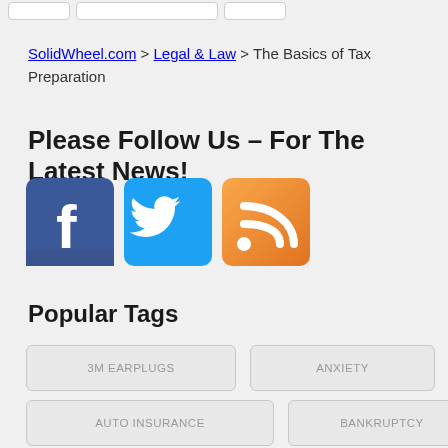SolidWheel.com > Legal & Law > The Basics of Tax Preparation
Please Follow Us – For The Latest News!
[Figure (illustration): Social media icons: Facebook (blue), Twitter (light blue), RSS feed (orange gradient)]
Popular Tags
3M EARPLUGS
ANXIETY
AUTO INSURANCE
BANKRUPTCY